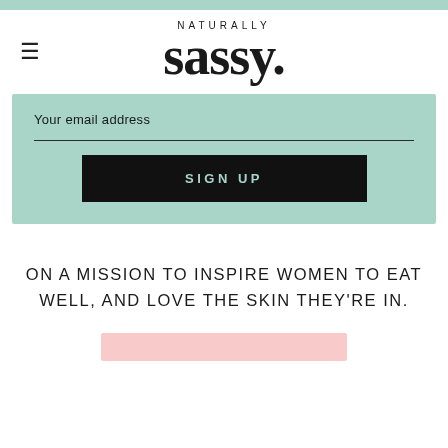[Figure (logo): Naturally Sassy logo with hamburger menu icon on the left. 'NATURALLY' in small spaced uppercase letters above large bold serif 'sassy.' text]
[Figure (screenshot): Email signup box on mint/teal green background with 'Your email address' label, underline input field, and black SIGN UP button with mint text]
ON A MISSION TO INSPIRE WOMEN TO EAT WELL, AND LOVE THE SKIN THEY'RE IN.
[Figure (illustration): Pink accent shape partially visible at bottom of page]